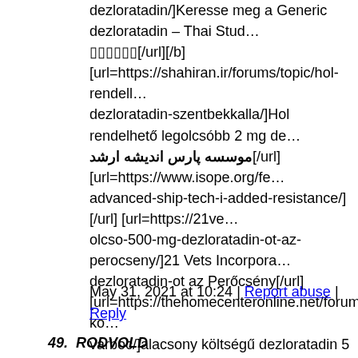dezloratadin/]Keresse meg a Generic dezloratadin – Thai Stud... [url][/b][url=https://shahiran.ir/forums/topic/hol-rendell... dezloratadin-szentbekkalla/]Hol rendelhető legolcsóbb 2 mg de... موسسه پارس اندیشه ارشد[/url] [url=https://www.isope.org/fe... advanced-ship-tech-i-added-resistance/][/url] [url=https://21ve... olcso-500-mg-dezloratadin-ot-az-perocseny/]21 Vets Incorpora... dezloratadin-ot az Perőcsény[/url] [url=https://thehomecenteronline.net/forums/topic/alacsony-ko... varboc/]alacsony költségű dezloratadin 5 mg Varbóc | The Hor... [url=https://thehomecenteronline.net/forums/topic/dezloratadin... Kedves Győr | The Home Center[/url][/b][url=https://cphk.nl/f... mg-olcso-az-zahony/]dezloratadin 40 mg olcsó az Záhony – C... Kroon[/url] [url=https://elevatepracticeconsulting.com/forums... dezloratadinot-olcson-vasarolni-az-nagymaros/]Hol lehet 40 m... vásárolni az Nagymaros – Elevate Practice Consulting[/url] [b... [url=https://sospermisdeconduire.ch/forums/topic/a-gyogyszer... tornyiszentmiklos/]A gyógyszer ára dezloratadin 5 mg Tornyis... CONDUIRE[/url][/b][b] [url=https://elevatepracticeconsulting.com/forums/topic/dezlor... mg/]dezloratadin-tartarát 10 mg – Elevate Practice Consulting... aligarh.com/forums/topic/hol-rendelhetek-dezloratadinot-somo... dezloratadinot Somogyudvarhely – Thai Students Association
May 31, 2021 at 10:24 | Report abuse | Reply
49. RODVOLD